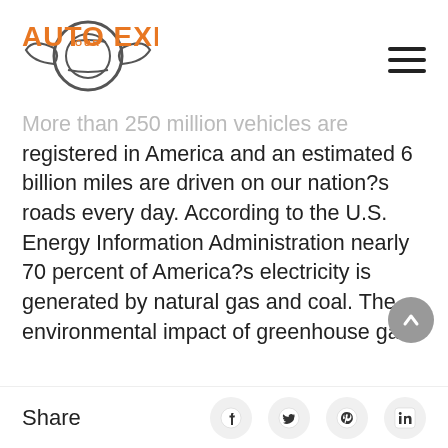[Figure (logo): Our Auto Expert logo with orange text and circular gear/wheel graphic]
More than 250 million vehicles are registered in America and an estimated 6 billion miles are driven on our nation?s roads every day. According to the U.S. Energy Information Administration nearly 70 percent of America?s electricity is generated by natural gas and coal. The environmental impact of greenhouse gas
Share